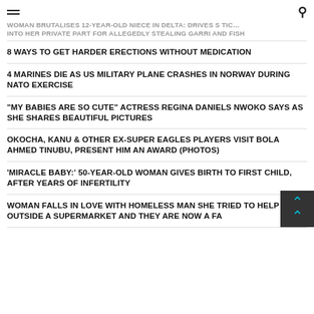WOMAN BRUTALISES 12-YEAR-OLD NIECE IN DELTA: DRIVES STICK INTO HER PRIVATE PART FOR ALLEGEDLY STEALING GARRI AND FISH
8 WAYS TO GET HARDER ERECTIONS WITHOUT MEDICATION
4 MARINES DIE AS US MILITARY PLANE CRASHES IN NORWAY DURING NATO EXERCISE
"MY BABIES ARE SO CUTE" ACTRESS REGINA DANIELS NWOKO SAYS AS SHE SHARES BEAUTIFUL PICTURES
OKOCHA, KANU & OTHER EX-SUPER EAGLES PLAYERS VISIT BOLA AHMED TINUBU, PRESENT HIM AN AWARD (PHOTOS)
'MIRACLE BABY:' 50-YEAR-OLD WOMAN GIVES BIRTH TO FIRST CHILD, AFTER YEARS OF INFERTILITY
WOMAN FALLS IN LOVE WITH HOMELESS MAN SHE TRIED TO HELP OUTSIDE A SUPERMARKET AND THEY ARE NOW A FA…